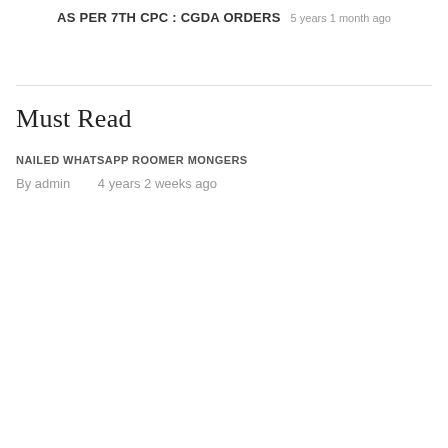AS PER 7TH CPC : CGDA ORDERS
5 years 1 month ago
Must Read
NAILED WHATSAPP ROOMER MONGERS
By admin    4 years 2 weeks ago